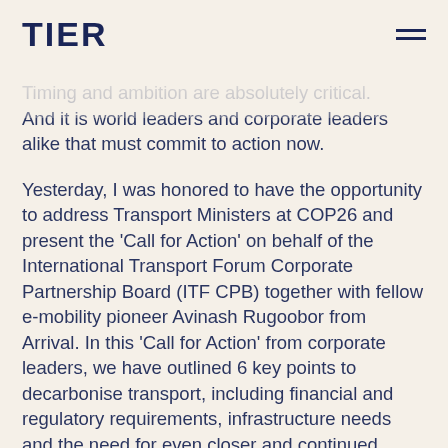TIER
Timing and ambition are absolutely critical. And it is world leaders and corporate leaders alike that must commit to action now.
Yesterday, I was honored to have the opportunity to address Transport Ministers at COP26 and present the ‘Call for Action’ on behalf of the International Transport Forum Corporate Partnership Board (ITF CPB) together with fellow e-mobility pioneer Avinash Rugoobor from Arrival. In this ‘Call for Action’ from corporate leaders, we have outlined 6 key points to decarbonise transport, including financial and regulatory requirements, infrastructure needs and the need for even closer and continued